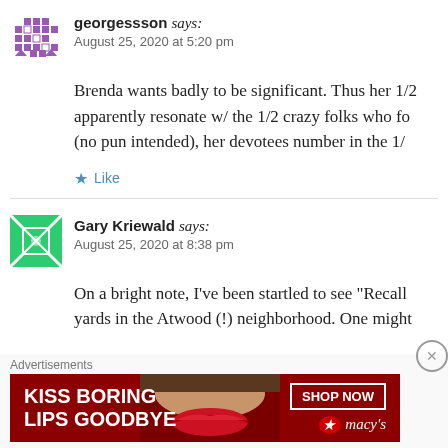georgessson says: August 25, 2020 at 5:20 pm
Brenda wants badly to be significant. Thus her 1/2 apparently resonate w/ the 1/2 crazy folks who fo (no pun intended), her devotees number in the 1/
Like
Gary Kriewald says: August 25, 2020 at 8:38 pm
On a bright note, I've been startled to see “Recall yards in the Atwood (!) neighborhood. One might
Advertisements
[Figure (illustration): Macy's advertisement banner: red background with lips photo, text 'KISS BORING LIPS GOODBYE', 'SHOP NOW' button, Macy's star logo]